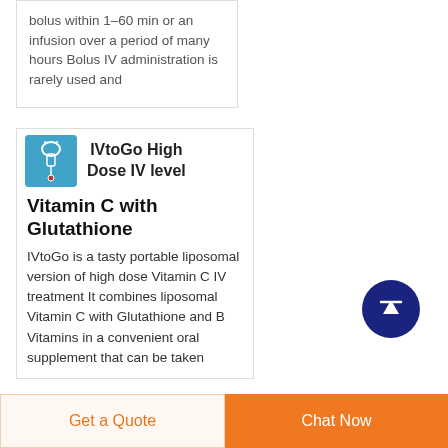bolus within 1–60 min or an infusion over a period of many hours Bolus IV administration is rarely used and
[Figure (illustration): Blue square icon with IV drip/infusion equipment illustration]
IVtoGo High Dose IV level Vitamin C with Glutathione
IVtoGo is a tasty portable liposomal version of high dose Vitamin C IV treatment It combines liposomal Vitamin C with Glutathione and B Vitamins in a convenient oral supplement that can be taken
[Figure (illustration): Dark navy blue circular scroll-to-top button with upward arrow]
Get a Quote
Chat Now